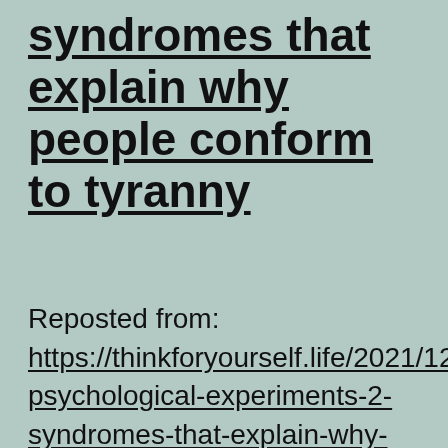syndromes that explain why people conform to tyranny
Reposted from: https://thinkforyourself.life/2021/12/11/3-psychological-experiments-2-syndromes-that-explain-why-so-many-people-conform-with-tyranny/ by Makia Freeman, at The Freedom Articles, Dec. 12, 2021 [edited] People are walking around in a COVID trance, also called COVID hypnosis. The orchestrators of the so-called 'pandemic' understand human